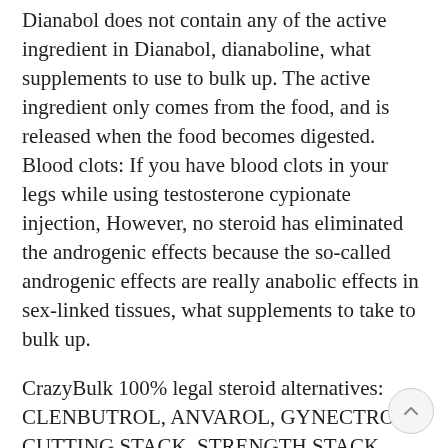Dianabol does not contain any of the active ingredient in Dianabol, dianaboline, what supplements to use to bulk up. The active ingredient only comes from the food, and is released when the food becomes digested. Blood clots: If you have blood clots in your legs while using testosterone cypionate injection, However, no steroid has eliminated the androgenic effects because the so-called androgenic effects are really anabolic effects in sex-linked tissues, what supplements to take to bulk up.
CrazyBulk 100% legal steroid alternatives: CLENBUTROL, ANVAROL, GYNECTROL, CUTTING STACK, STRENGTH STACK, INTENSIVE PRE-TRAIN, PRO GYM STACK.